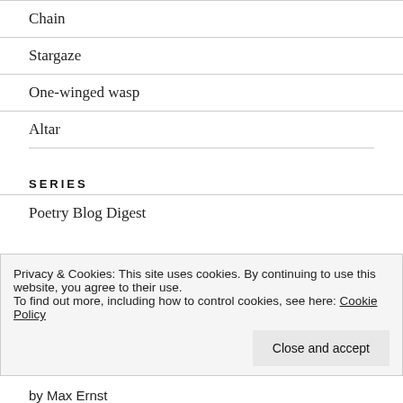Chain
Stargaze
One-winged wasp
Altar
SERIES
Poetry Blog Digest
Privacy & Cookies: This site uses cookies. By continuing to use this website, you agree to their use.
To find out more, including how to control cookies, see here: Cookie Policy
by Max Ernst